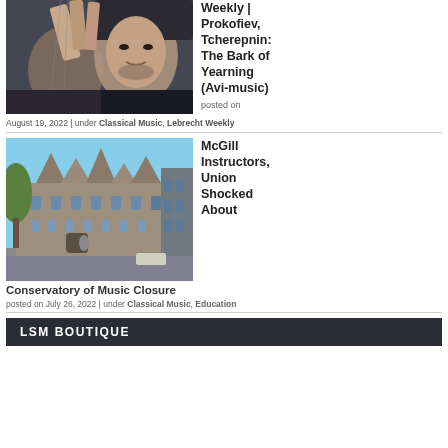[Figure (photo): Two musicians in a close-up photo, one holding a bow or string instrument near their face]
Weekly | Prokofiev, Tcherepnin: The Bark of Yearning (Avi-music)
posted on
August 19, 2022 | under Classical Music, Lebrecht Weekly
[Figure (photo): Exterior photo of a large gothic-style stone building, the McGill Conservatory of Music]
McGill Instructors, Union Shocked About
Conservatory of Music Closure
posted on July 26, 2022 | under Classical Music, Education
LSM BOUTIQUE